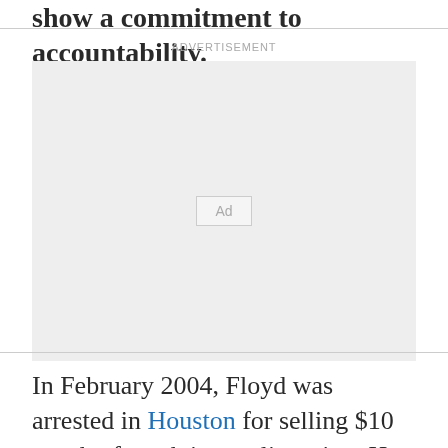show a commitment to accountability.
[Figure (other): Advertisement placeholder box with 'Ad' label]
In February 2004, Floyd was arrested in Houston for selling $10 worth of crack in a police sting. He pleaded guilty to a drug charge and served 10 months in prison